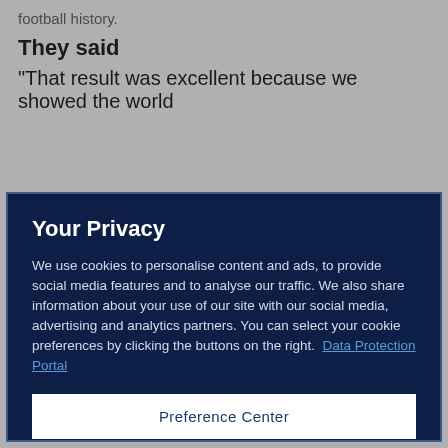football history.
They said
"That result was excellent because we showed the world
Your Privacy
We use cookies to personalise content and ads, to provide social media features and to analyse our traffic. We also share information about your use of our site with our social media, advertising and analytics partners. You can select your cookie preferences by clicking the buttons on the right.  Data Protection Portal
Preference Center
Reject All
I'm OK with that